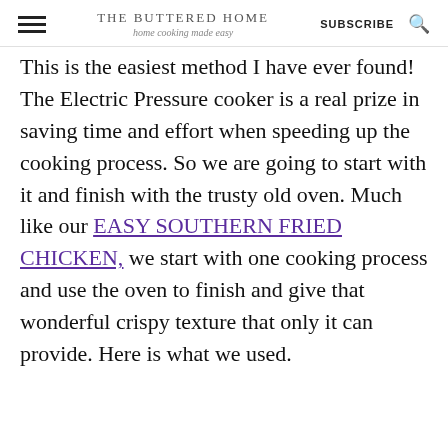THE BUTTERED HOME home cooking made easy | SUBSCRIBE
This is the easiest method I have ever found! The Electric Pressure cooker is a real prize in saving time and effort when speeding up the cooking process. So we are going to start with it and finish with the trusty old oven. Much like our EASY SOUTHERN FRIED CHICKEN, we start with one cooking process and use the oven to finish and give that wonderful crispy texture that only it can provide. Here is what we used.